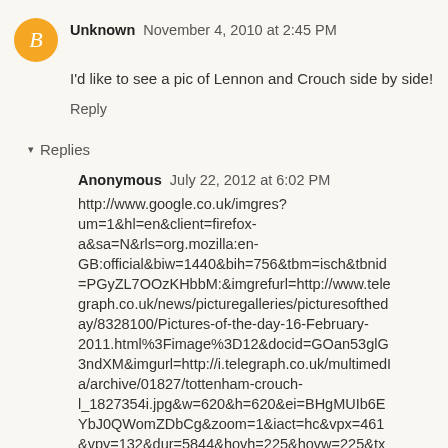Unknown  November 4, 2010 at 2:45 PM
I'd like to see a pic of Lennon and Crouch side by side!
Reply
Replies
Anonymous  July 22, 2012 at 6:02 PM
http://www.google.co.uk/imgres?um=1&hl=en&client=firefox-a&sa=N&rls=org.mozilla:en-GB:official&biw=1440&bih=756&tbm=isch&tbnid=PGyZL7OOzKHbbM:&imgrefurl=http://www.telegraph.co.uk/news/picturegalleries/picturesoftheday/8328100/Pictures-of-the-day-16-February-2011.html%3Fimage%3D12&docid=GOan53glG3ndXM&imgurl=http://i.telegraph.co.uk/multimedia/archive/01827/tottenham-crouch-l_1827354i.jpg&w=620&h=620&ei=BHgMUIb6EYbJ0QWomZDbCg&zoom=1&iact=hc&vpx=461&vpy=132&dur=5844&hovh=225&hovw=225&tx=107&ty=229&sig=114688908592413056085&p